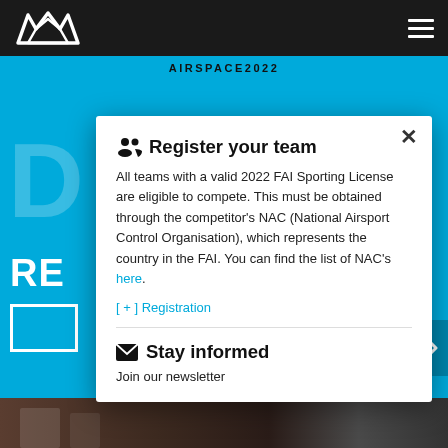AIRSPACE2022
[Figure (screenshot): Blue background website page with DC letters, RE text, white rectangle outline, and right navigation arrow. Bottom shows partial photo of indoor scene.]
Register your team
All teams with a valid 2022 FAI Sporting License are eligible to compete. This must be obtained through the competitor's NAC (National Airsport Control Organisation), which represents the country in the FAI. You can find the list of NAC's here.
[ + ] Registration
Stay informed
Join our newsletter